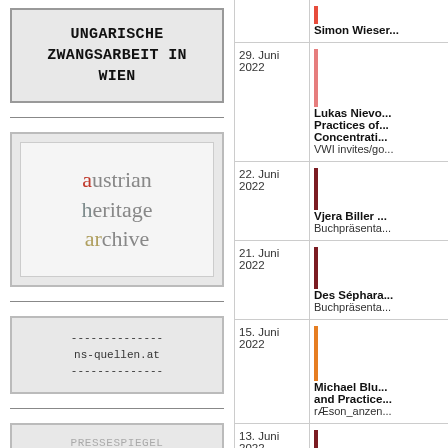[Figure (logo): Box with bold monospace text: UNGARISCHE ZWANGSARBEIT IN WIEN]
[Figure (logo): Austrian Heritage Archive logo with colored letters]
[Figure (logo): ns-quellen.at website box with dashed lines]
[Figure (logo): Pressespiegel box, partially visible]
| Date | Event |
| --- | --- |
|  | Simon Wieser... |
| 29. Juni 2022 | Lukas Nievo... Practices of... Concentrati...
VWI invites/go... |
| 22. Juni 2022 | Vjera Biller ...
Buchpräsenta... |
| 21. Juni 2022 | Des Séphara...
Buchpräsenta... |
| 15. Juni 2022 | Michael Blu... and Practice...
rÆson_anzen... |
| 13. Juni 2022 | Recording P...
Workshop |
| 09. Juni 2022 | Internationa...
Internation... |